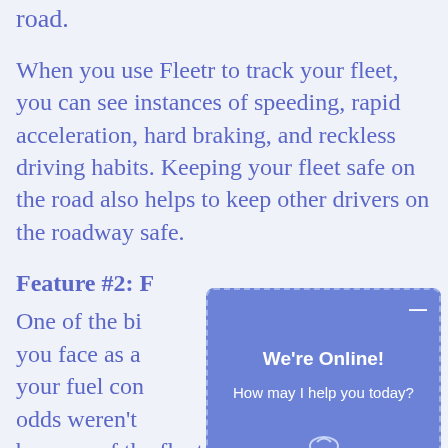road.
When you use Fleetr to track your fleet, you can see instances of speeding, rapid acceleration, hard braking, and reckless driving habits. Keeping your fleet safe on the road also helps to keep other drivers on the roadway safe.
Feature #2: F...
One of the bi... you face as a... your fuel con... odds weren't... because of the fluctuating fuel
[Figure (screenshot): Chat widget overlay with blue background showing 'We're Online!' and 'How may I help you today?' text with a minimize button and Fleetr logo at the bottom.]